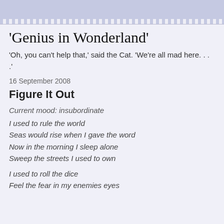'Genius in Wonderland'
'Oh, you can't help that,' said the Cat. 'We're all mad here. . . .'
16 September 2008
Figure It Out
Current mood: insubordinate
I used to rule the world
Seas would rise when I gave the word
Now in the morning I sleep alone
Sweep the streets I used to own
I used to roll the dice
Feel the fear in my enemies eyes